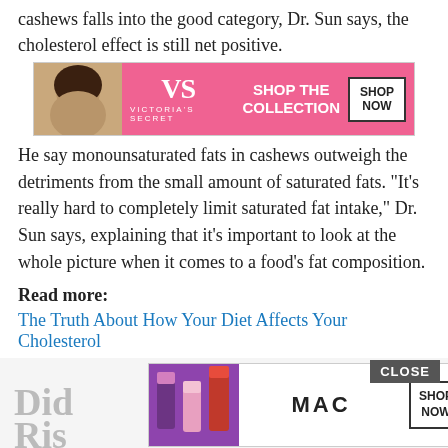cashews falls into the good category, Dr. Sun says, the cholesterol effect is still net positive.
[Figure (photo): Victoria's Secret advertisement banner with model and 'SHOP THE COLLECTION / SHOP NOW' call to action on pink background]
He say monounsaturated fats in cashews outweigh the detriments from the small amount of saturated fats. “It’s really hard to completely limit saturated fat intake,” Dr. Sun says, explaining that it’s important to look at the whole picture when it comes to a food’s fat composition.
Read more:
The Truth About How Your Diet Affects Your Cholesterol
You May Like:  Is Tuna Good For Cholesterol
[Figure (photo): MAC cosmetics advertisement banner with lipsticks and 'SHOP NOW' button, partially visible at bottom of page. CLOSE button visible in top right of bottom area.]